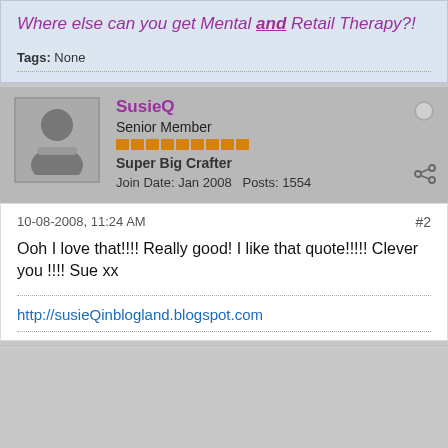Where else can you get Mental and Retail Therapy?!
Tags: None
SusieQ
Senior Member
Super Big Crafter
Join Date: Jan 2008   Posts: 1554
10-08-2008, 11:24 AM
#2
Ooh I love that!!!! Really good! I like that quote!!!!! Clever you !!!! Sue xx
http://susieQinblogland.blogspot.com